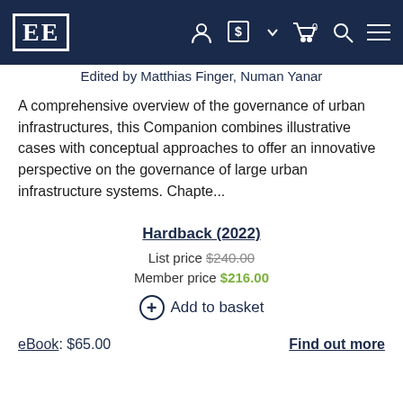[Figure (logo): Edward Elgar Publishing logo - EE in white on dark navy background, navigation bar with user, currency, cart, search, and menu icons]
Edited by Matthias Finger, Numan Yanar
A comprehensive overview of the governance of urban infrastructures, this Companion combines illustrative cases with conceptual approaches to offer an innovative perspective on the governance of large urban infrastructure systems. Chapte...
Hardback (2022)
List price $240.00
Member price $216.00
+ Add to basket
eBook: $65.00
Find out more